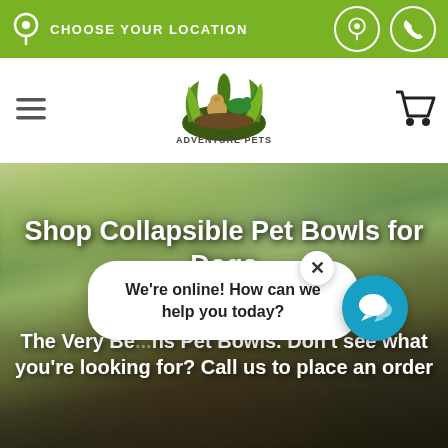CHOOSE YOUR LOCATION
[Figure (logo): Adventure Pets logo with animals on a rock surrounded by plants]
Shop Collapsible Pet Bowls for Dogs
The Very Be... ns Pet Bowls. Don't see what you're looking for? Call us to place an order
We're online! How can we help you today?